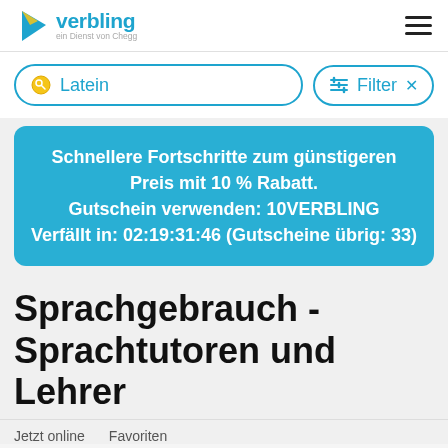verbling – ein Dienst von Chegg
Latein
Filter ×
Schnellere Fortschritte zum günstigeren Preis mit 10 % Rabatt. Gutschein verwenden: 10VERBLING Verfällt in: 02:19:31:46 (Gutscheine übrig: 33)
Sprachgebrauch - Sprachtutoren und Lehrer
Jetzt online    Favoriten